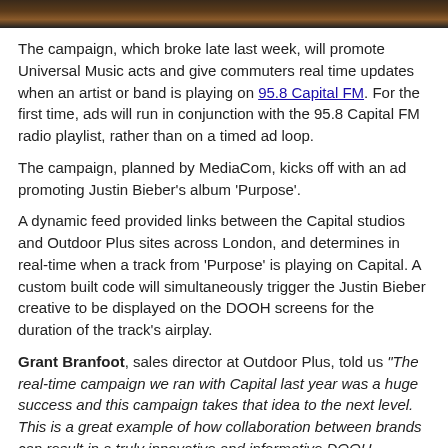[Figure (photo): Dark photo strip at top of page, appears to be a cropped image with warm tones]
The campaign, which broke late last week, will promote Universal Music acts and give commuters real time updates when an artist or band is playing on 95.8 Capital FM. For the first time, ads will run in conjunction with the 95.8 Capital FM radio playlist, rather than on a timed ad loop.
The campaign, planned by MediaCom, kicks off with an ad promoting Justin Bieber's album 'Purpose'.
A dynamic feed provided links between the Capital studios and Outdoor Plus sites across London, and determines in real-time when a track from 'Purpose' is playing on Capital. A custom built code will simultaneously trigger the Justin Bieber creative to be displayed on the DOOH screens for the duration of the track's airplay.
Grant Branfoot, sales director at Outdoor Plus, told us "The real-time campaign we ran with Capital last year was a huge success and this campaign takes that idea to the next level. This is a great example of how collaboration between brands can result in a truly innovative and informative DOOH campaign".
Arran Javed, OOH Trading at MediaCom, added ""Bringing OOH and radio together like this, in a truly live way, highlights the full potential of DOOH. This connected real time planning, and media first, demonstrates a perfect partnership between multiple media partners, and in world with context is becoming ever important will bring the audio and the visual